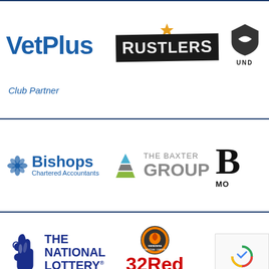[Figure (logo): VetPlus logo in blue bold text]
[Figure (logo): Rustlers logo in dark box with stylized lettering]
[Figure (logo): Under Armour partial logo (cropped)]
Club Partner
[Figure (logo): Bishops Chartered Accountants logo with blue snowflake icon]
[Figure (logo): The Baxter Group logo with triangle pyramid icon]
[Figure (logo): Partial logo starting with B, text Mo... (cropped)]
[Figure (logo): The National Lottery logo with blue hand and text]
[Figure (logo): Vanarama National League badge above 32Red Official League Betting Partner]
[Figure (logo): reCAPTCHA widget with Privacy and Terms links]